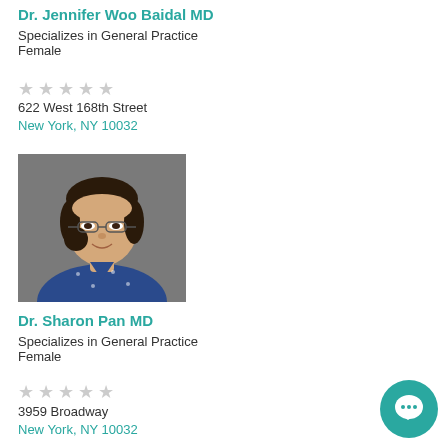Dr. Jennifer Woo Baidal MD
Specializes in General Practice
Female
622 West 168th Street
New York, NY 10032
[Figure (photo): Professional headshot of Dr. Sharon Pan MD, an Asian woman with short dark hair and glasses, wearing a blue floral top, smiling against a gray background.]
Dr. Sharon Pan MD
Specializes in General Practice
Female
3959 Broadway
New York, NY 10032